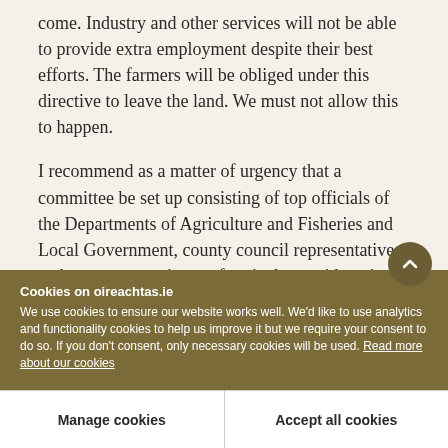come. Industry and other services will not be able to provide extra employment despite their best efforts. The farmers will be obliged under this directive to leave the land. We must not allow this to happen.
I recommend as a matter of urgency that a committee be set up consisting of top officials of the Departments of Agriculture and Fisheries and Local Government, county council representatives and county committees of agriculture with a view to examining speedily the question of making running
Cookies on oireachtas.ie
We use cookies to ensure our website works well. We'd like to use analytics and functionality cookies to help us improve it but we require your consent to do so. If you don't consent, only necessary cookies will be used. Read more about our cookies
Manage cookies
Accept all cookies